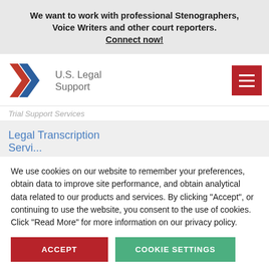We want to work with professional Stenographers, Voice Writers and other court reporters. Connect now!
[Figure (logo): U.S. Legal Support logo with red and blue chevron arrows and text 'U.S. Legal Support']
Trial Support Services
Legal Transcription Services
We use cookies on our website to remember your preferences, obtain data to improve site performance, and obtain analytical data related to our products and services. By clicking "Accept", or continuing to use the website, you consent to the use of cookies. Click "Read More" for more information on our privacy policy.
ACCEPT
COOKIE SETTINGS
Read More